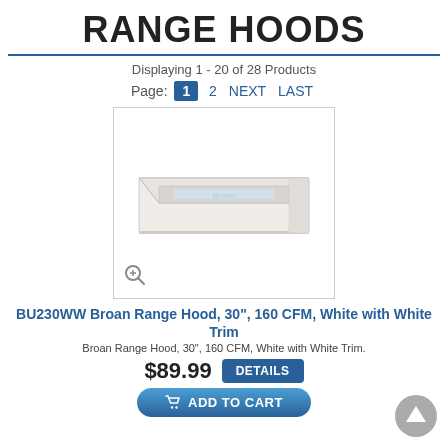RANGE HOODS
Displaying 1 - 20 of 28 Products
Page: 1 2 NEXT LAST
[Figure (photo): White under-cabinet range hood (Broan BU230WW) with magnify icon in bottom left corner]
BU230WW Broan Range Hood, 30", 160 CFM, White with White Trim
Broan Range Hood, 30", 160 CFM, White with White Trim.
$89.99  DETAILS  ADD TO CART